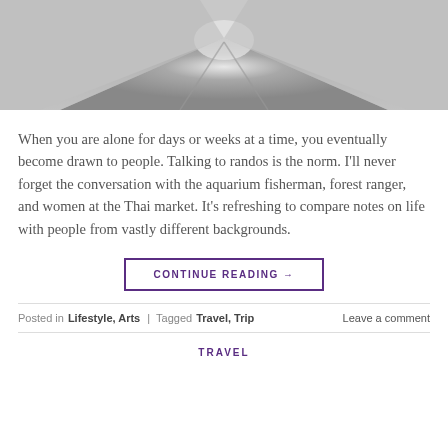[Figure (photo): Grayscale photo of a tunnel or railway track receding into fog/distance, viewed from center perspective.]
When you are alone for days or weeks at a time, you eventually become drawn to people. Talking to randos is the norm. I'll never forget the conversation with the aquarium fisherman, forest ranger, and women at the Thai market. It's refreshing to compare notes on life with people from vastly different backgrounds.
CONTINUE READING →
Posted in Lifestyle, Arts | Tagged Travel, Trip   Leave a comment
TRAVEL